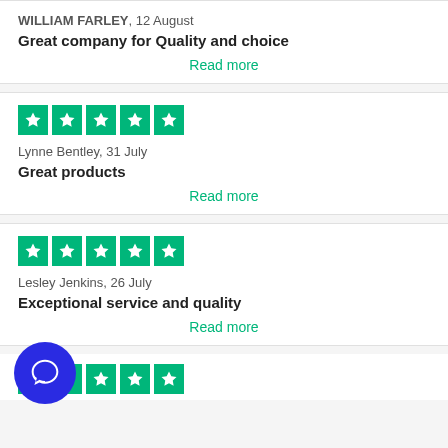WILLIAM FARLEY, 12 August
Great company for Quality and choice
Read more
[Figure (other): Five green star rating boxes (Trustpilot style)]
Lynne Bentley, 31 July
Great products
Read more
[Figure (other): Five green star rating boxes (Trustpilot style)]
Lesley Jenkins, 26 July
Exceptional service and quality
Read more
[Figure (other): Partial row of green star rating boxes at bottom]
[Figure (other): Blue circular chat bubble button in lower left]